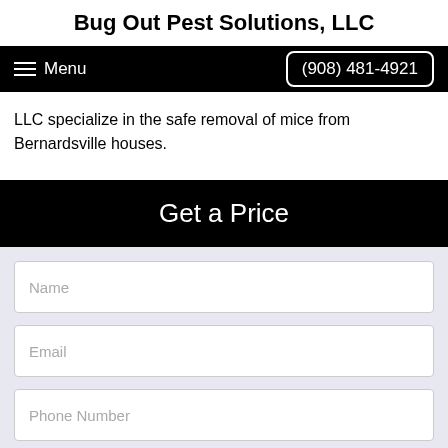Bug Out Pest Solutions, LLC
Menu   (908) 481-4921
LLC specialize in the safe removal of mice from Bernardsville houses.
Get a Price
Name
Email
Phone Number
Enter Your Message